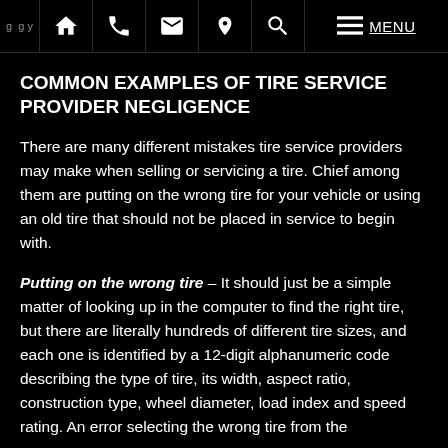Home | Phone | Email | Location | Search | Menu
COMMON EXAMPLES OF TIRE SERVICE PROVIDER NEGLIGENCE
There are many different mistakes tire service providers may make when selling or servicing a tire. Chief among them are putting on the wrong tire for your vehicle or using an old tire that should not be placed in service to begin with.
Putting on the wrong tire – It should just be a simple matter of looking up in the computer to find the right tire, but there are literally hundreds of different tire sizes, and each one is identified by a 12-digit alphanumeric code describing the type of tire, its width, aspect ratio, construction type, wheel diameter, load index and speed rating. An error selecting the wrong tire from the